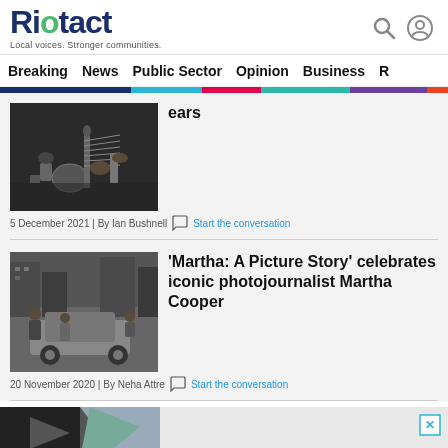Riotact — Local voices. Stronger communities.
Breaking | News | Public Sector | Opinion | Business | R…
[Figure (photo): Black and white photo of musicians playing guitars]
ears
5 December 2021 | By Ian Bushnell   Start the conversation
'Martha: A Picture Story' celebrates iconic photojournalist Martha Cooper
[Figure (photo): Black and white street photo of children near a car]
20 November 2020 | By Neha Attre   Start the conversation
[Figure (photo): Advertisement banner at bottom of page]